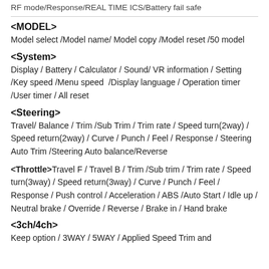RF mode/Response/REAL TIME ICS/Battery fail safe
<MODEL>
Model select /Model name/ Model copy /Model reset /50 model
<System>
Display / Battery / Calculator / Sound/ VR information / Setting /Key speed /Menu speed  /Display language / Operation timer /User timer / All reset
<Steering>
Travel/ Balance / Trim /Sub Trim / Trim rate / Speed turn(2way) / Speed return(2way) / Curve / Punch / Feel / Response / Steering Auto Trim /Steering Auto balance/Reverse
<Throttle>Travel F / Travel B / Trim /Sub trim / Trim rate / Speed turn(3way) / Speed return(3way) / Curve / Punch / Feel / Response / Push control / Acceleration / ABS /Auto Start / Idle up / Neutral brake / Override / Reverse / Brake in / Hand brake
<3ch/4ch>
Keep option / 3WAY / 5WAY / Applied Speed Trim and